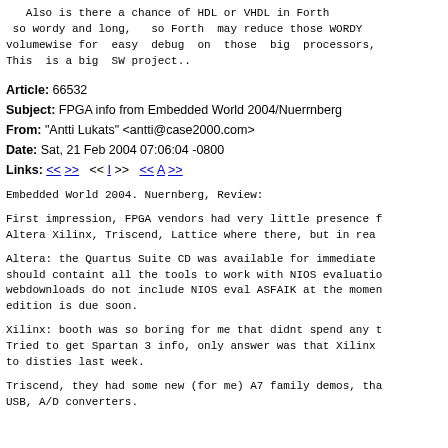Also is there a chance of HDL or VHDL in Forth
 so wordy and long,  so Forth  may reduce those WORDY
volumewise for  easy  debug  on  those  big  processors,
This  is a big  SW project..
Article: 66532
Subject: FPGA info from Embedded World 2004/Nuerrnberg
From: "Antti Lukats" <antti@case2000.com>
Date: Sat, 21 Feb 2004 07:06:04 -0800
Links: << >>   << I >>   << A >>
Embedded World 2004. Nuernberg, Review:
First impression, FPGA vendors had very little presence f
Altera Xilinx, Triscend, Lattice where there, but in rea
Altera: the Quartus Suite CD was available for immediate
should containt all the tools to work with NIOS evaluatio
webdownloads do not include NIOS eval ASFAIK at the momen
edition is due soon.
Xilinx: booth was so boring for me that didnt spend any t
Tried to get Spartan 3 info, only answer was that Xilinx
to disties last week.
Triscend, they had some new (for me) A7 family demos, tha
USB, A/D converters.